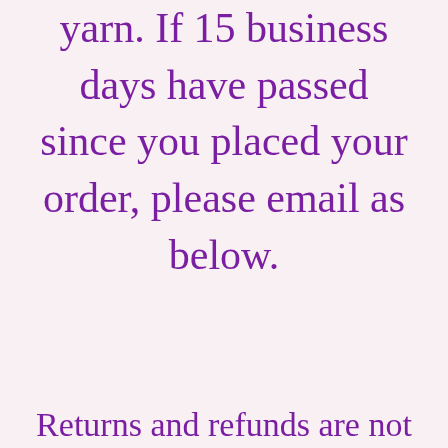yarn. If 15 business days have passed since you placed your order, please email as below.
Returns and refunds are not